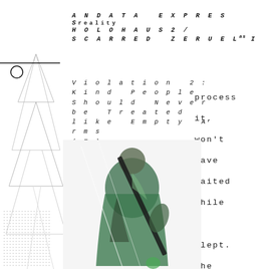ANDATA EXPRESS reality / HOLOHAUS2 / SCARRED ZERUEL as I
Violation 2: Kind People Should Never be Treated like Empty Arms (Σ)
process
it,
won't
have
waited
while
I
slept.
She
searches
[Figure (illustration): Figure of a person dressed in green garment holding a dark object, overlaid with geometric line drawings on the left side]